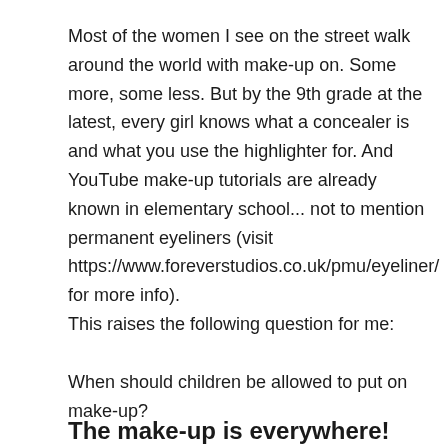Most of the women I see on the street walk around the world with make-up on. Some more, some less. But by the 9th grade at the latest, every girl knows what a concealer is and what you use the highlighter for. And YouTube make-up tutorials are already known in elementary school… not to mention permanent eyeliners (visit https://www.foreverstudios.co.uk/pmu/eyeliner/ for more info).
This raises the following question for me:
When should children be allowed to put on make-up?
The make-up is everywhere!